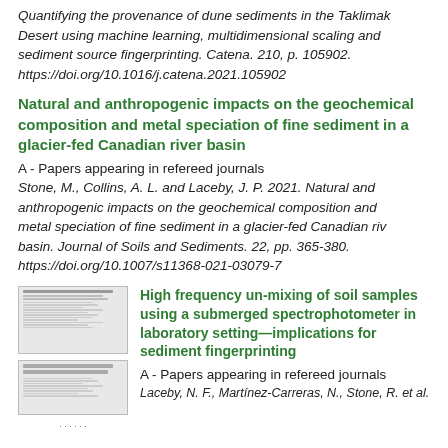Quantifying the provenance of dune sediments in the Taklamakan Desert using machine learning, multidimensional scaling and sediment source fingerprinting. Catena. 210, p. 105902. https://doi.org/10.1016/j.catena.2021.105902
Natural and anthropogenic impacts on the geochemical composition and metal speciation of fine sediment in a glacier-fed Canadian river basin
A - Papers appearing in refereed journals
Stone, M., Collins, A. L. and Laceby, J. P. 2021. Natural and anthropogenic impacts on the geochemical composition and metal speciation of fine sediment in a glacier-fed Canadian river basin. Journal of Soils and Sediments. 22, pp. 365-380. https://doi.org/10.1007/s11368-021-03079-7
[Figure (photo): Thumbnail images of two academic paper pages]
High frequency un-mixing of soil samples using a submerged spectrophotometer in laboratory setting—implications for sediment fingerprinting
A - Papers appearing in refereed journals
Laceby, N. F., Martínez-Carreras, N., Stone, R. et al.